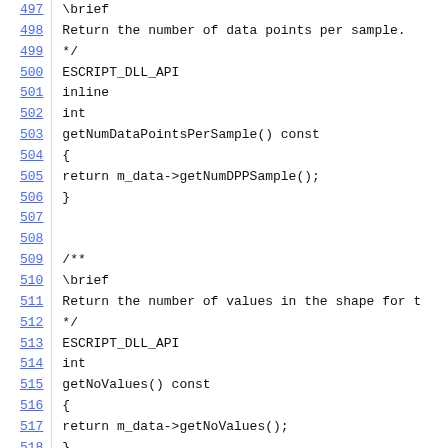Code listing lines 497-519 showing C++ source code with getNumDataPointsPerSample() and getNoValues() methods